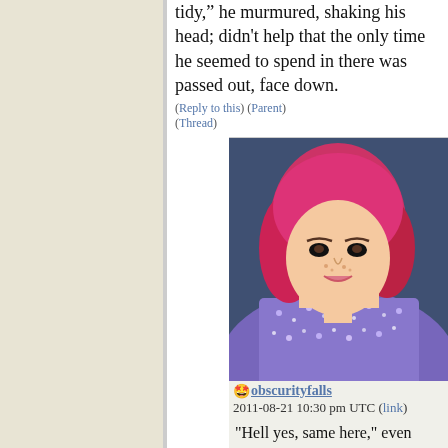tidy,” he murmured, shaking his head; didn't help that the only time he seemed to spend in there was passed out, face down.
(Reply to this) (Parent) (Thread)
[Figure (photo): Profile photo of a woman with pink/red hair wearing a sparkly purple top]
obscurityfalls
2011-08-21 10:30 pm UTC (link)
"Hell yes, same here," even though she usually somehow managed